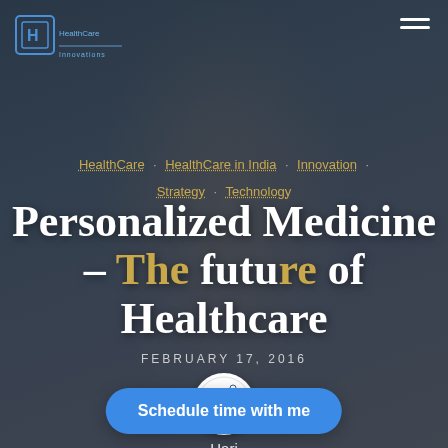[Figure (photo): Background photo of a smiling man in suit and glasses with dark overlay, serving as the page hero image]
[Figure (logo): HealthCare blog logo top left, blue cube icon with text]
HealthCare · HealthCare in India · Innovation · Strategy · Technology
Personalized Medicine – The future of Healthcare
FEBRUARY 17, 2016
[Figure (logo): HAPLO circular logo badge]
Hari
Schedule time with me